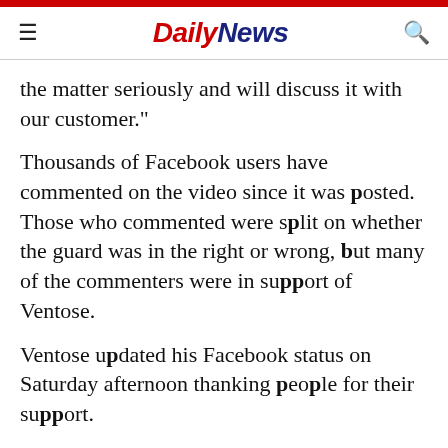Daily News
the matter seriously and will discuss it with our customer."
Thousands of Facebook users have commented on the video since it was posted. Those who commented were split on whether the guard was in the right or wrong, but many of the commenters were in support of Ventose.
Ventose updated his Facebook status on Saturday afternoon thanking people for their support.
“I want to thank everyone who has reached out and supported me, it’s overwhelming to see the amount of people defending me. … This is the Canada I know.”
The Toronto Star and the story and a part of